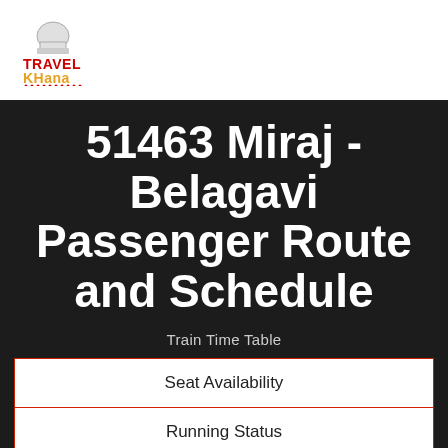[Figure (logo): Travel Khana logo with chef hat icon, red TRAVEL text and orange KHANA text]
51463 Miraj - Belagavi Passenger Route and Schedule
Train Time Table
| Seat Availability |
| Running Status |
| Time Table |